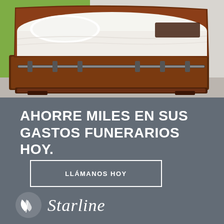[Figure (photo): Photo of an open dark mahogany funeral casket with white satin interior lining, silver hardware handles, displayed against a light background with green wall accent]
AHORRE MILES EN SUS GASTOS FUNERARIOS HOY.
LLÁMANOS HOY
[Figure (logo): Starline funeral services logo with white leaf/flower icon and italic Starline text in white]